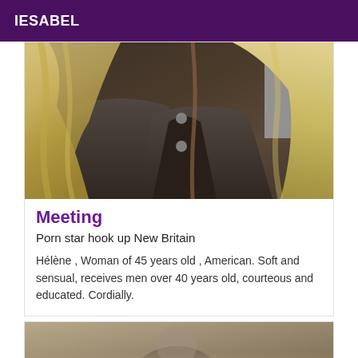IESABEL
[Figure (photo): Close-up photo of a person with long blonde hair wearing a dark jacket, face not visible]
Meeting
Porn star hook up New Britain
Hélène , Woman of 45 years old , American. Soft and sensual, receives men over 40 years old, courteous and educated. Cordially.
[Figure (photo): Partial photo of a person, bottom portion visible]